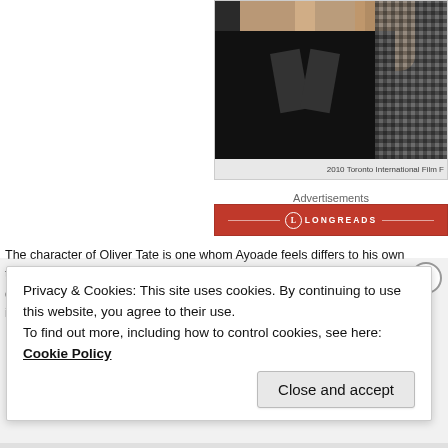[Figure (photo): Photo from 2010 Toronto International Film Festival showing people in formal attire]
2010 Toronto International Film F
Advertisements
[Figure (logo): Longreads advertisement banner with red background and circular logo]
The character of Oliver Tate is one whom Ayoade feels differs to his own teenage s to anyone until I was in my twenties." However, he does add that despite the major arising from how he was described in the book, it was inevitable that as a director s way in which Craig Roberts performed the part.
Privacy & Cookies: This site uses cookies. By continuing to use this website, you agree to their use.
To find out more, including how to control cookies, see here: Cookie Policy
Close and accept